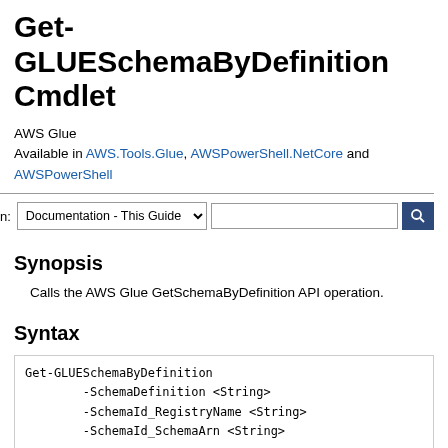Get-GLUESchemaByDefinition Cmdlet
AWS Glue
Available in AWS.Tools.Glue, AWSPowerShell.NetCore and AWSPowerShell
Synopsis
Calls the AWS Glue GetSchemaByDefinition API operation.
Syntax
Get-GLUESchemaByDefinition
        -SchemaDefinition <String>
        -SchemaId_RegistryName <String>
        -SchemaId_SchemaArn <String>